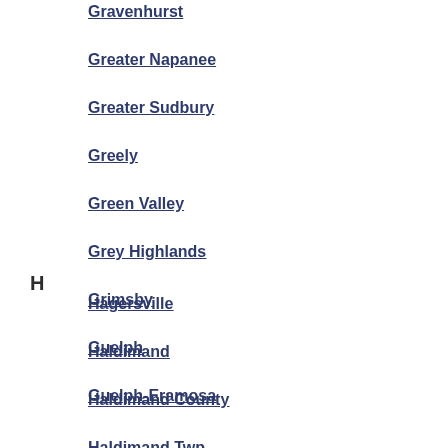Gravenhurst
Greater Napanee
Greater Sudbury
Greely
Green Valley
Grey Highlands
Grimsby
Guelph
Guelph-Eramosa
H
Hagersville
Haldimand
Haldimand County
Haldimand Twp
Haliburton
Halton